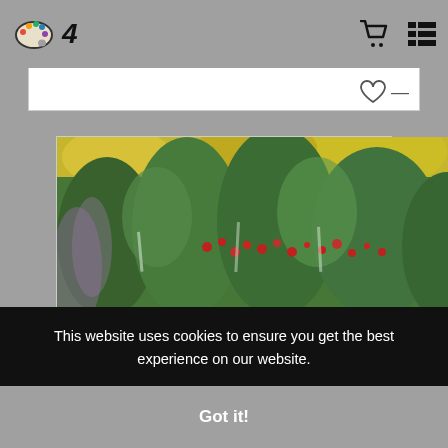SN Art — navigation header with cart and menu icons
[Figure (photo): Painting titled 'Better Days Ahead' showing a colorful impressionist landscape with green trees, red flowers, yellow sky, and a blue water body in the foreground with lily pads]
BETTER DAYS AHEAD
from $28.00
This website uses cookies to ensure you get the best experience on our website.
Got it!